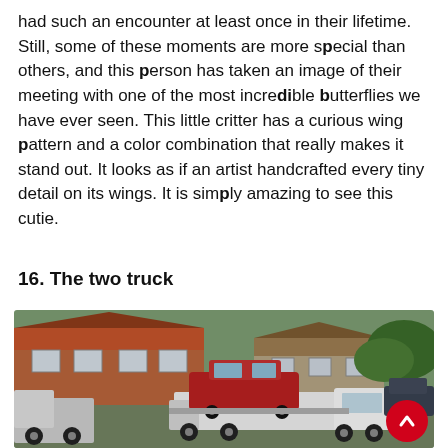had such an encounter at least once in their lifetime. Still, some of these moments are more special than others, and this person has taken an image of their meeting with one of the most incredible butterflies we have ever seen. This little critter has a curious wing pattern and a color combination that really makes it stand out. It looks as if an artist handcrafted every tiny detail on its wings. It is simply amazing to see this cutie.
16. The two truck
[Figure (photo): A street scene showing a red hatchback car loaded on a flatbed tow truck, with a white van/truck visible beside it. Brick houses with red tile roofs and green trees are visible in the background.]